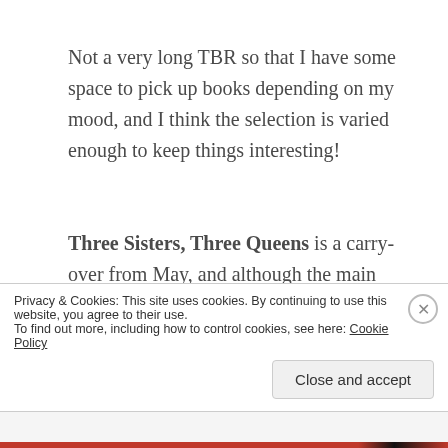Not a very long TBR so that I have some space to pick up books depending on my mood, and I think the selection is varied enough to keep things interesting!
Three Sisters, Three Queens is a carry-over from May, and although the main character is a bit whiny, I always find Philippa Gregory's books fun and this is no exception – Tudor drama is always very entertaining to read!
How the One-Armed Sister Sweeps Her House is the
Privacy & Cookies: This site uses cookies. By continuing to use this website, you agree to their use.
To find out more, including how to control cookies, see here: Cookie Policy
Close and accept